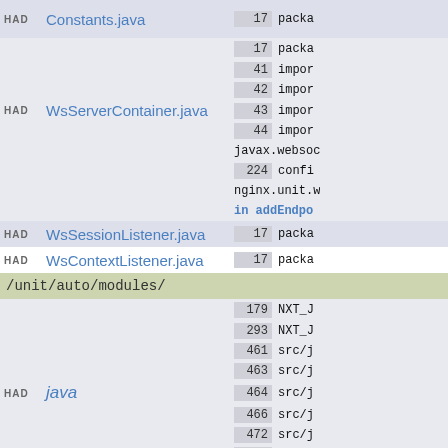HAD  Constants.java  17  packa
HAD  WsServerContainer.java  17  packa  41  impor  42  impor  43  impor  44  impor  javax.websoc  224  confi  nginx.unit.w  in addEndpo
HAD  WsSessionListener.java  17  packa
HAD  WsContextListener.java  17  packa
/unit/auto/modules/
HAD  java  179 NXT_J  293 NXT_J  461 src/j  463 src/j  464 src/j  466 src/j  472 src/j  508 src/j  510 src/j  511 src/j  [all]